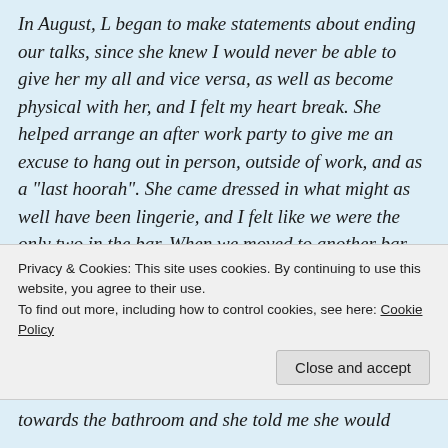In August, L began to make statements about ending our talks, since she knew I would never be able to give her my all and vice versa, as well as become physical with her, and I felt my heart break. She helped arrange an after work party to give me an excuse to hang out in person, outside of work, and as a "last hoorah". She came dressed in what might as well have been lingerie, and I felt like we were the only two in the bar. When we moved to another bar, she reached for my hand and I felt like I was floating, how could I have realized I that I was missing out on a feeling that was so incredible, why
Privacy & Cookies: This site uses cookies. By continuing to use this website, you agree to their use.
To find out more, including how to control cookies, see here: Cookie Policy
Close and accept
towards the bathroom and she told me she would